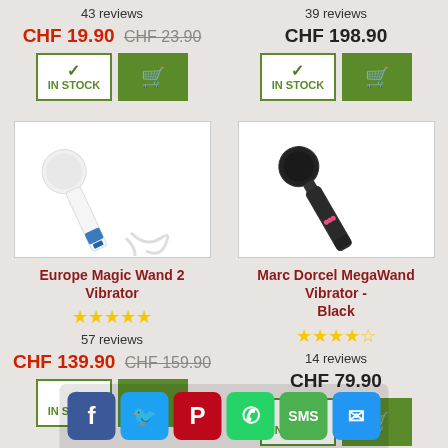43 reviews
39 reviews
CHF 19.90 CHF 23.90
CHF 198.90
[Figure (photo): Europe Magic Wand 2 Vibrator product image - white wand vibrator with blue accents and power cord]
[Figure (photo): Marc Dorcel MegaWand Vibrator Black product image - black wand vibrator]
Europe Magic Wand 2 Vibrator
Marc Dorcel MegaWand Vibrator - Black
★★★★★ 57 reviews
★★★★☆ 14 reviews
CHF 139.90 CHF 159.90
CHF 79.90
[Figure (screenshot): Social sharing bar with Facebook, Twitter, Pinterest, WhatsApp, SMS, Email buttons]